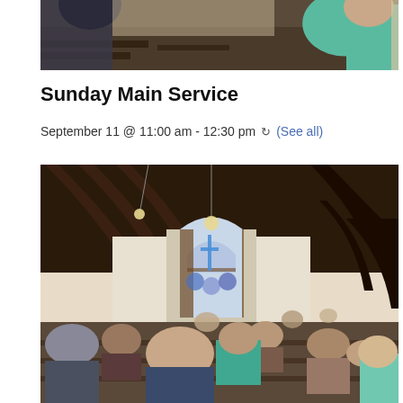[Figure (photo): Church congregation viewed from behind, people seated in pews with someone in a teal/green shirt visible prominently]
Sunday Main Service
September 11 @ 11:00 am - 12:30 pm  (See all)
[Figure (photo): Interior of a gothic church with wooden arched ceiling, stained glass windows at the altar, chandeliers, and congregation standing during service]